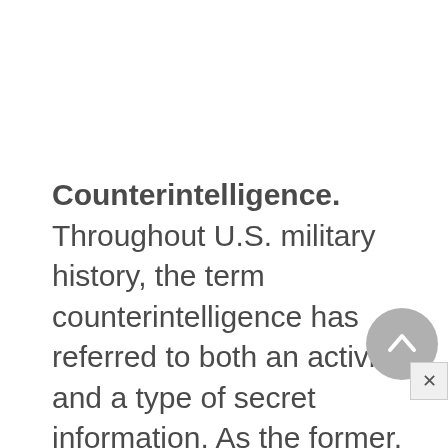Counterintelligence. Throughout U.S. military history, the term counterintelligence has referred to both an activity and a type of secret information. As the former, counterintelligence is designed to neutralize information gathering by foreign powers. In its guise as a kind of intelligence, counterintelligence